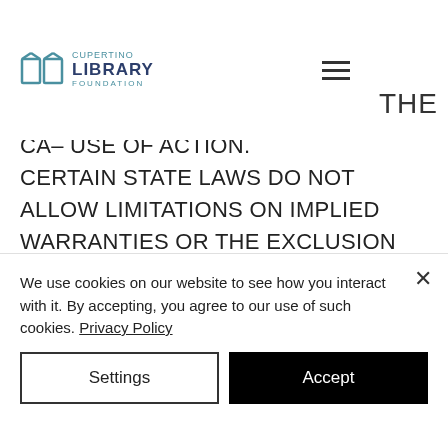Cupertino Library Foundation
CA– USE OF ACTION. CERTAIN STATE LAWS DO NOT ALLOW LIMITATIONS ON IMPLIED WARRANTIES OR THE EXCLUSION OR LIMITATION OF CERTAIN DAMAGES. IF THESE LAWS APPLY TO YOU, SOME OR ALL OF THE ABOVE DISCLAIMERS, EXCLUSIONS OR LIMITATIONS MAY NOT APPLY TO YOU, AND YOU MAY HAVE ADDITIONAL RIGHTS.
THE
We use cookies on our website to see how you interact with it. By accepting, you agree to our use of such cookies. Privacy Policy
Settings
Accept